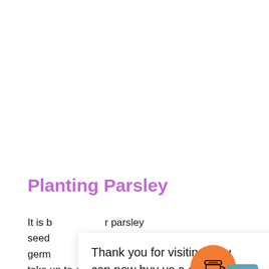Planting Parsley
It is b[est to grow] r parsley seed[lings by plan]ting germ[inating] ow s[eed, which can] take up to 4 weeks for seeds to germinate.
Thank you for visiting. You can now buy us a coffee!